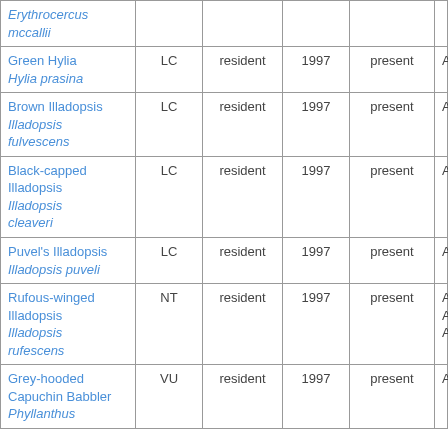| Erythrocercus mccallii |  |  |  |  |  |
| Green Hylia Hylia prasina | LC | resident | 1997 | present | A3 |
| Brown Illadopsis Illadopsis fulvescens | LC | resident | 1997 | present | A3 |
| Black-capped Illadopsis Illadopsis cleaveri | LC | resident | 1997 | present | A3 |
| Puvel's Illadopsis Illadopsis puveli | LC | resident | 1997 | present | A3 |
| Rufous-winged Illadopsis Illadopsis rufescens | NT | resident | 1997 | present | A1, A2, A3 |
| Grey-hooded Capuchin Babbler Phyllanthus | VU | resident | 1997 | present | A3 |